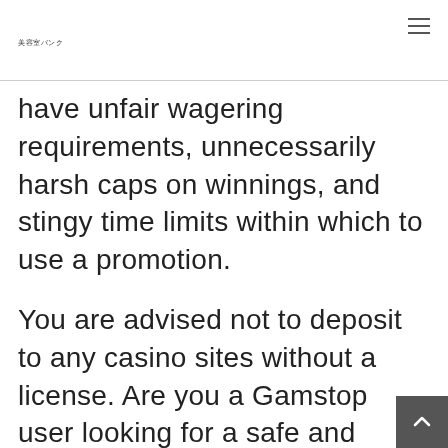美容室バンク
have unfair wagering requirements, unnecessarily harsh caps on winnings, and stingy time limits within which to use a promotion.
You are advised not to deposit to any casino sites without a license. Are you a Gamstop user looking for a safe and convenient casino site to play your favorite real money casino games? If yes, you have to consider some essential factors. Some of these factors include